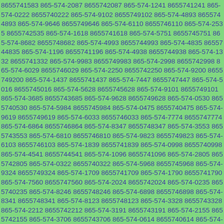8655741583 865-574-2087 8655742087 865-574-1241 8655741241 865-574-0222 8655740222 865-574-9102 8655749102 865-574-4893 8655744893 865-574-9646 8655749646 865-574-6110 8655746110 865-574-2535 8655742535 865-574-1618 8655741618 865-574-5751 8655745751 865-574-8682 8655748682 865-574-4993 8655744993 865-574-4835 8655744835 865-574-1196 8655741196 865-574-4938 8655744938 865-574-1332 8655741332 865-574-9983 8655749983 865-574-2998 8655742998 865-574-6029 8655746029 865-574-2250 8655742250 865-574-9200 8655749200 865-574-1437 8655741437 865-574-7447 8655747447 865-574-5016 8655745016 865-574-5628 8655745628 865-574-9101 8655749101 865-574-3685 8655743685 865-574-9628 8655749628 865-574-0530 8655740530 865-574-5984 8655745984 865-574-0475 8655740475 865-574-9619 8655749619 865-574-6033 8655746033 865-574-7774 8655747774 865-574-6864 8655746864 865-574-8347 8655748347 865-574-3553 8655743553 865-574-6810 8655746810 865-574-9823 8655749823 865-574-6103 8655746103 865-574-1839 8655741839 865-574-0998 8655740998 865-574-4541 8655744541 865-574-1096 8655741096 865-574-2805 8655742805 865-574-0322 8655740322 865-574-5968 8655745968 865-574-9324 8655749324 865-574-1709 8655741709 865-574-1790 8655741790 865-574-7560 8655747560 865-574-2024 8655742024 865-574-0235 8655740235 865-574-8246 8655748246 865-574-6898 8655746898 865-574-8341 8655748341 865-574-8123 8655748123 865-574-3328 8655743328 865-574-2212 8655742212 865-574-3191 8655743191 865-574-2155 8655742155 865-574-3706 8655743706 865-574-0614 8655740614 865-574-7766 8655747766 865-574-